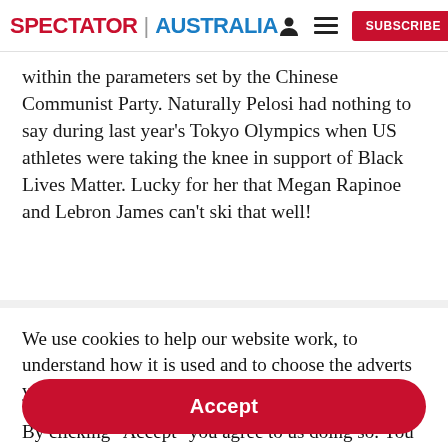SPECTATOR | AUSTRALIA
within the parameters set by the Chinese Communist Party. Naturally Pelosi had nothing to say during last year's Tokyo Olympics when US athletes were taking the knee in support of Black Lives Matter. Lucky for her that Megan Rapinoe and Lebron James can't ski that well!
We use cookies to help our website work, to understand how it is used and to choose the adverts you are shown.
By clicking "Accept" you agree to us doing so. You can read more in our privacy policy.
Accept